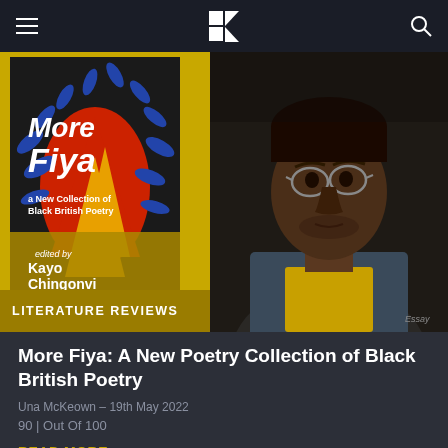Navigation header with hamburger menu, logo, and search icon
[Figure (photo): Book cover of 'More Fiya: a New Collection of Black British Poetry' edited by Kayo Chingonvi, overlaid on yellow/gold background with 'LITERATURE REVIEWS' label]
[Figure (photo): Black and white close-up photo of a man wearing glasses, a denim jacket, and a yellow shirt, looking upward]
More Fiya: A New Poetry Collection of Black British Poetry
Una McKeown – 19th May 2022
90 | Out Of 100
READ MORE